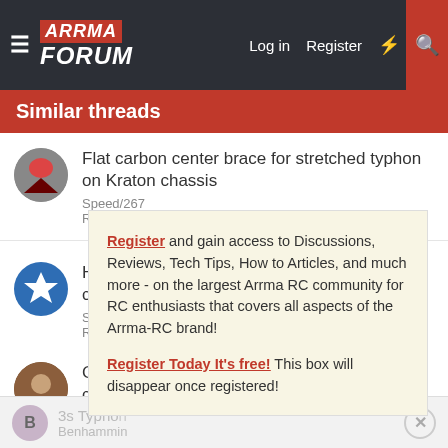ARRMA FORUM — Log in | Register
Similar threads
Flat carbon center brace for stretched typhon on Kraton chassis
Speed/267
Replies: 6 · Sep 23, 2021
How long to fit new chassis?
STARman
Replies: 12 ·
Register and gain access to Discussions, Reviews, Tech Tips, How to Articles, and much more - on the largest Arrma RC community for RC enthusiasts that covers all aspects of the Arrma-RC brand!
Register Today It's free! This box will disappear once registered!
Clarification [of] chassis
Kingpin
Replies: 2 · M
3s Typhon
Benhammin